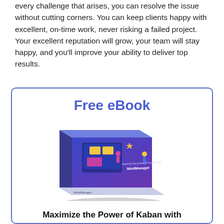every challenge that arises, you can resolve the issue without cutting corners. You can keep clients happy with excellent, on-time work, never risking a failed project. Your excellent reputation will grow, your team will stay happy, and you'll improve your ability to deliver top results.
Free eBook
[Figure (illustration): A 3D book cover for a MindManager eBook titled 'Maximize the Power of Kaban with MindManager', showing illustrated people working at a digital board with colorful elements on a blue/purple gradient background.]
Maximize the Power of Kaban with